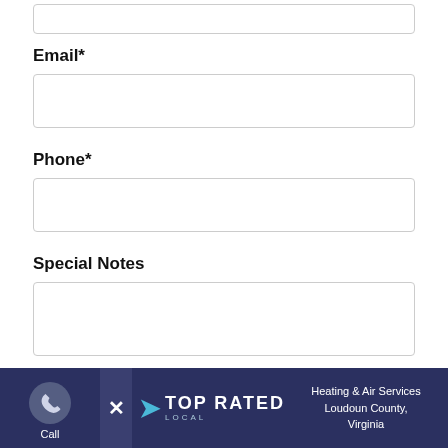(empty input field at top)
Email*
(email input field)
Phone*
(phone input field)
Special Notes
(special notes textarea)
Call | TOP RATED LOCAL | Heating & Air Services Loudoun County, Virginia